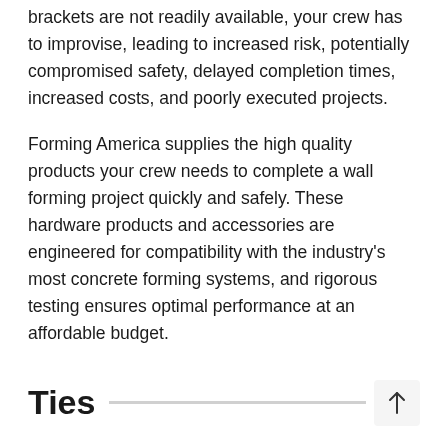brackets are not readily available, your crew has to improvise, leading to increased risk, potentially compromised safety, delayed completion times, increased costs, and poorly executed projects.
Forming America supplies the high quality products your crew needs to complete a wall forming project quickly and safely. These hardware products and accessories are engineered for compatibility with the industry's most concrete forming systems, and rigorous testing ensures optimal performance at an affordable budget.
Ties
HD Loop Panel Ties